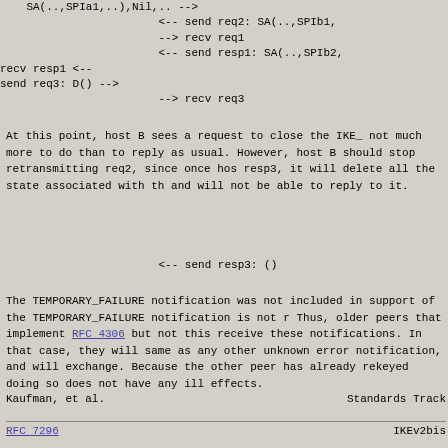SA(..,SPIa1,..),Nil,.. -->
                    <-- send req2: SA(..,SPIb1,
                    --> recv req1
                    <-- send resp1: SA(..,SPIb2,
recv resp1 <--
send req3: D() -->
                    --> recv req3
At this point, host B sees a request to close the IKE_ not much more to do than to reply as usual. However, host B should stop retransmitting req2, since once hos resp3, it will delete all the state associated with th and will not be able to reply to it.
<-- send resp3: ()
The TEMPORARY_FAILURE notification was not included in support of the TEMPORARY_FAILURE notification is not r Thus, older peers that implement RFC 4306 but not this receive these notifications. In that case, they will same as any other unknown error notification, and will exchange. Because the other peer has already rekeyed doing so does not have any ill effects.
Kaufman, et al.                 Standards Track
RFC 7296                        IKEv2bis